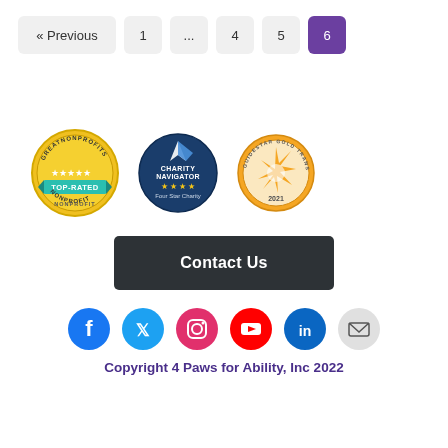« Previous  1  ...  4  5  6
[Figure (logo): GreatNonprofits Top-Rated Nonprofit badge (gold seal with teal ribbon)]
[Figure (logo): Charity Navigator Four Star Charity badge (blue circular badge with stars)]
[Figure (logo): Guidestar Gold Transparency 2021 badge (gold circular badge with star)]
Contact Us
[Figure (infographic): Social media icons row: Facebook, Twitter, Instagram, YouTube, LinkedIn, Email]
Copyright 4 Paws for Ability, Inc 2022